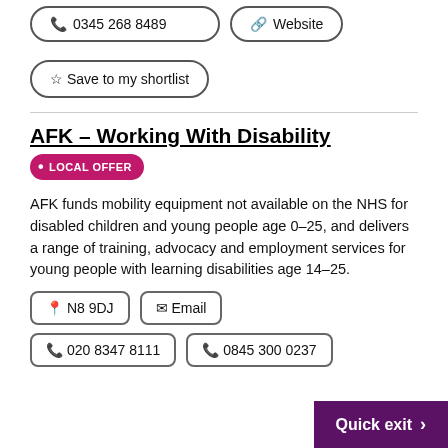📞 0345 268 8489
🔗 Website
☆ Save to my shortlist
AFK – Working With Disability
• LOCAL OFFER
AFK funds mobility equipment not available on the NHS for disabled children and young people age 0-25, and delivers a range of training, advocacy and employment services for young people with learning disabilities age 14-25.
📍 N8 9DJ
✉ Email
📞 020 8347 8111
📞 0845 300 0237